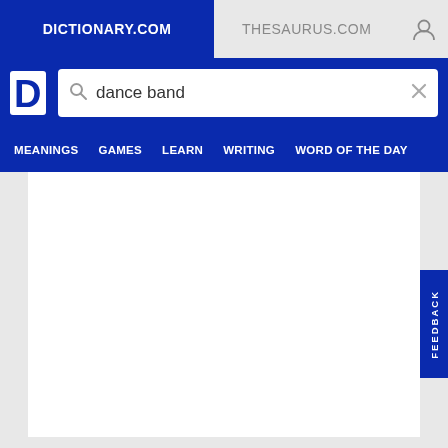DICTIONARY.COM | THESAURUS.COM
dance band
MEANINGS  GAMES  LEARN  WRITING  WORD OF THE DAY
[Figure (screenshot): White content area, mostly blank, with a blue FEEDBACK tab on the right side]